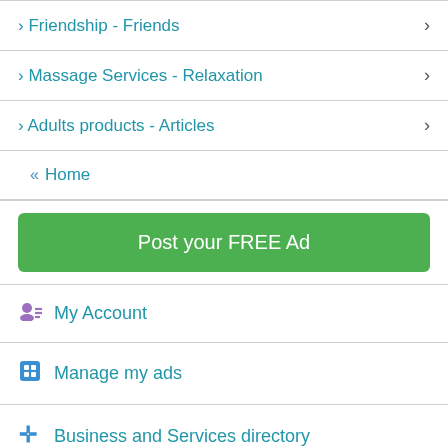› Friendship - Friends
› Massage Services - Relaxation
› Adults products - Articles
« Home
Post your FREE Ad
My Account
Manage my ads
Business and Services directory